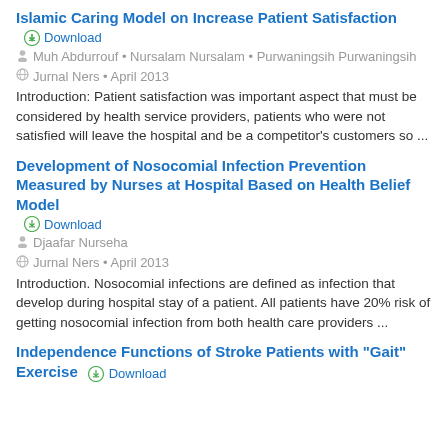Islamic Caring Model on Increase Patient Satisfaction
⊕ Download
👤 Muh Abdurrouf • Nursalam Nursalam • Purwaningsih Purwaningsih
🌐 Jurnal Ners • April 2013
Introduction: Patient satisfaction was important aspect that must be considered by health service providers, patients who were not satisfied will leave the hospital and be a competitor's customers so ...
Development of Nosocomial Infection Prevention Measured by Nurses at Hospital Based on Health Belief Model
⊕ Download
👤 Djaafar Nurseha
🌐 Jurnal Ners • April 2013
Introduction. Nosocomial infections are defined as infection that develop during hospital stay of a patient. All patients have 20% risk of getting nosocomial infection from both health care providers ...
Independence Functions of Stroke Patients with "Gait" Exercise
⊕ Download